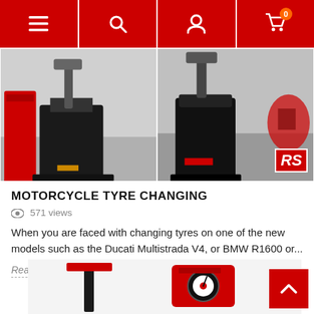Navigation bar with menu, search, account, and cart (0 items) icons
[Figure (photo): Two photos of motorcycle tyre changing machines in a workshop. Left photo shows a black tyre changer machine on a grey floor. Right photo shows a red and black tyre changer with an RS logo in the bottom right corner and a red Ducati motorcycle visible in background.]
MOTORCYCLE TYRE CHANGING
571 views
When you are faced with changing tyres on one of the new models such as the Ducati Multistrada V4, or BMW R1600 or...
Read more
[Figure (photo): Partial bottom image showing workshop equipment including a tall black stand and a red gauge/device mounted on a white wall.]